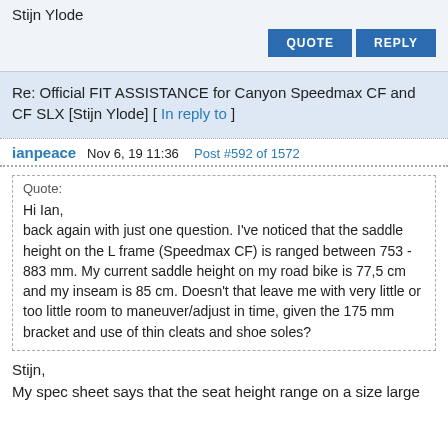Stijn Ylode
QUOTE   REPLY
Re: Official FIT ASSISTANCE for Canyon Speedmax CF and CF SLX [Stijn Ylode] [ In reply to ]
ianpeace  Nov 6, 19 11:36  Post #592 of 1572
Quote:
Hi Ian,
back again with just one question. I've noticed that the saddle height on the L frame (Speedmax CF) is ranged between 753 - 883 mm. My current saddle height on my road bike is 77,5 cm and my inseam is 85 cm. Doesn't that leave me with very little or too little room to maneuver/adjust in time, given the 175 mm bracket and use of thin cleats and shoe soles?
Stijn,
My spec sheet says that the seat height range on a size large